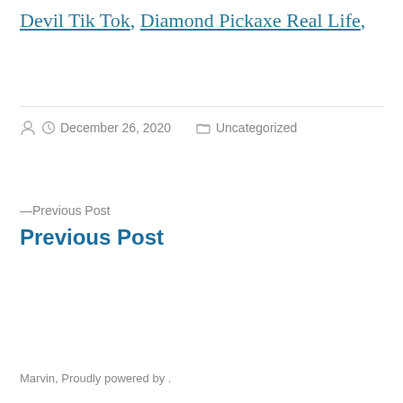Devil Tik Tok, Diamond Pickaxe Real Life,
Posted by [author icon] [clock icon] December 26, 2020 [folder icon] Uncategorized
—Previous Post
Previous Post
Marvin, Proudly powered by .